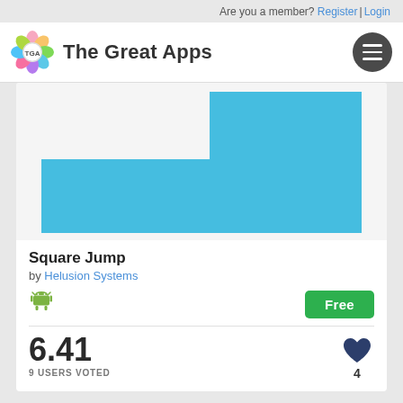Are you a member? Register | Login
[Figure (logo): The Great Apps logo with colorful flower and hamburger menu icon]
[Figure (screenshot): Square Jump app screenshot showing light blue staircase/block shapes on white background]
Square Jump
by Helusion Systems
[Figure (logo): Android robot icon (green)]
Free
6.41
9 USERS VOTED
[Figure (illustration): Dark blue heart icon with number 4 below it]